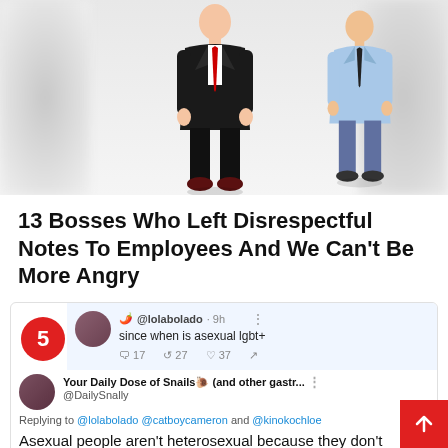[Figure (illustration): Top banner showing two illustrated business figures (one in dark suit with red tie, one in light blue shirt with dark tie) against a blurred background]
13 Bosses Who Left Disrespectful Notes To Employees And We Can't Be More Angry
[Figure (screenshot): Screenshot of a Twitter/social media exchange. Top tweet by @lolabolado (9h): 'since when is asexual lgbt+' with 17 replies, 27 retweets, 37 likes. Reply by Your Daily Dose of Snails (and other gastr... @DailySnally: 'Asexual people aren't heterosexual because they don't experience sexual attraction, unlike your mother who experiences sexual attraction to me.' Posted 8:09 a.m. 18 May 21 via Twitter for Android. 84 Retweets, 39 Quote Tweets, 1,335 Likes. Number badge '5' in red circle on left side.]
30 Times People Clapped Back And Put